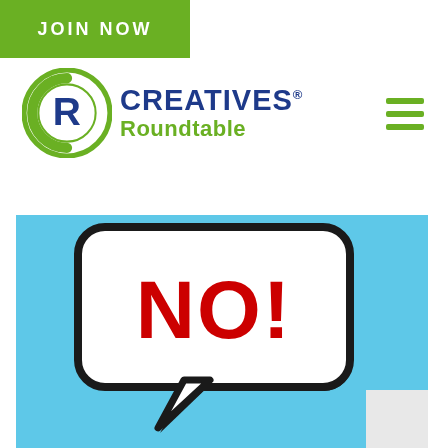JOIN NOW
[Figure (logo): Creatives Roundtable logo with green CR circle emblem and blue/green text]
[Figure (photo): A white speech bubble sticker with bold red text 'NO!' on a light blue background]